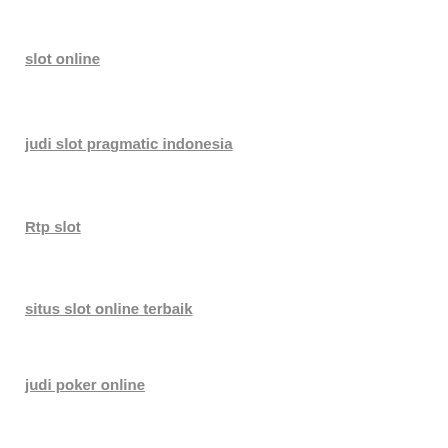slot online
judi slot pragmatic indonesia
Rtp slot
situs slot online terbaik
judi poker online
slot online